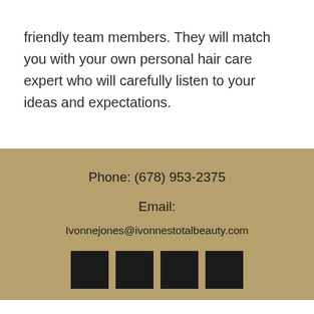friendly team members. They will match you with your own personal hair care expert who will carefully listen to your ideas and expectations.
Phone: (678) 953-2375
Email:
Ivonnejones@ivonnestotalbeauty.com